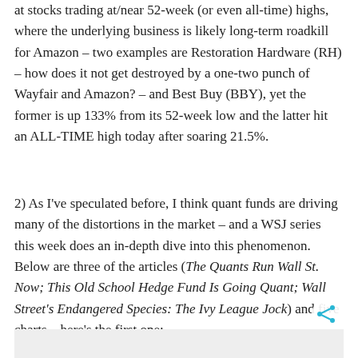at stocks trading at/near 52-week (or even all-time) highs, where the underlying business is likely long-term roadkill for Amazon – two examples are Restoration Hardware (RH) – how does it not get destroyed by a one-two punch of Wayfair and Amazon? – and Best Buy (BBY), yet the former is up 133% from its 52-week low and the latter hit an ALL-TIME high today after soaring 21.5%.
2) As I've speculated before, I think quant funds are driving many of the distortions in the market – and a WSJ series this week does an in-depth dive into this phenomenon. Below are three of the articles (The Quants Run Wall St. Now; This Old School Hedge Fund Is Going Quant; Wall Street's Endangered Species: The Ivy League Jock) and five charts – here's the first one:
[Figure (other): Gray box at bottom of page representing an image/chart that is partially visible]